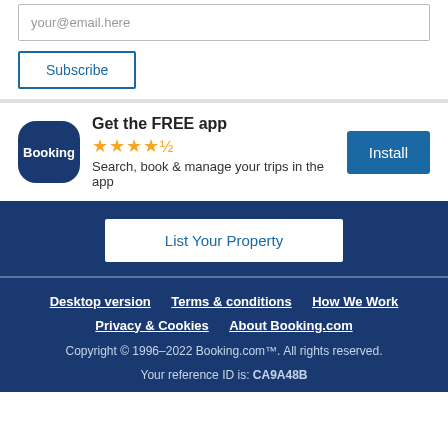your@email.here
Subscribe
[Figure (logo): Booking.com app icon — dark blue rounded square with white Booking text]
Get the FREE app
★★★★½
Search, book & manage your trips in the app
Install
List Your Property
Desktop version   Terms & conditions   How We Work   Privacy & Cookies   About Booking.com   Copyright © 1996–2022 Booking.com™. All rights reserved.   Your reference ID is: CA9A48B